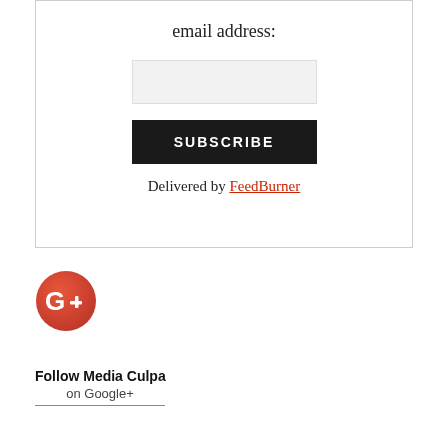email address:
[Figure (other): Email input text field, light gray background]
[Figure (other): Black SUBSCRIBE button with white uppercase bold text]
Delivered by FeedBurner
[Figure (logo): Google+ circular red logo with white G+ text]
Follow Media Culpa on Google+